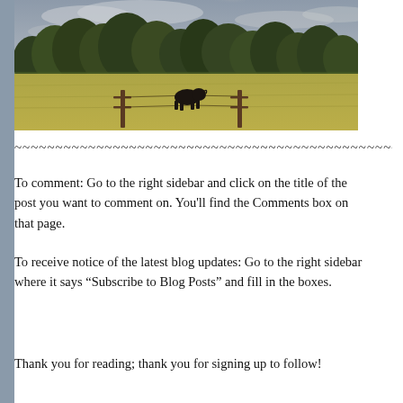[Figure (photo): Pastoral landscape photograph showing a green field with fence posts, a dark-colored cow or bull in the middle distance, green deciduous trees along the horizon, and an overcast sky with soft light.]
~~~~~~~~~~~~~~~~~~~~~~~~~~~~~~~~~~~~~~~~~~~~~~~~~~~~
To comment: Go to the right sidebar and click on the title of the post you want to comment on. You'll find the Comments box on that page.
To receive notice of the latest blog updates: Go to the right sidebar where it says “Subscribe to Blog Posts” and fill in the boxes.
Thank you for reading; thank you for signing up to follow!